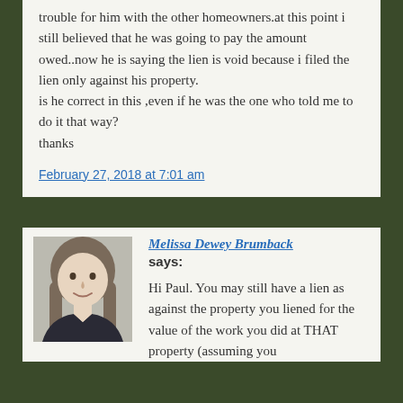trouble for him with the other homeowners.at this point i still believed that he was going to pay the amount owed..now he is saying the lien is void because i filed the lien only against his property.
is he correct in this ,even if he was the one who told me to do it that way?
thanks
February 27, 2018 at 7:01 am
[Figure (photo): Headshot photo of Melissa Dewey Brumback, a woman with long brown-grey hair, wearing a dark blazer, smiling]
Melissa Dewey Brumback says:
Hi Paul. You may still have a lien as against the property you liened for the value of the work you did at THAT property (assuming you